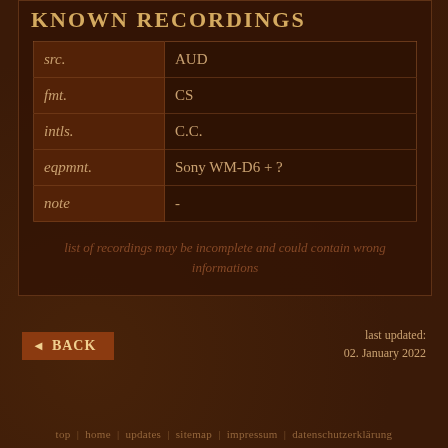KNOWN RECORDINGS
|  |  |
| --- | --- |
| src. | AUD |
| fmt. | CS |
| intls. | C.C. |
| eqpmnt. | Sony WM-D6 + ? |
| note | - |
list of recordings may be incomplete and could contain wrong informations
◄ BACK
last updated:
02. January 2022
top | home | updates | sitemap | impressum | datenschutzerklärung